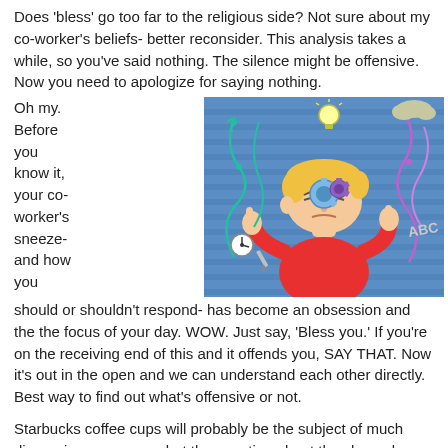Does 'bless' go too far to the religious side? Not sure about my co-worker's beliefs- better reconsider. This analysis takes a while, so you've said nothing. The silence might be offensive. Now you need to apologize for saying nothing.
Oh my. Before you know it, your co-worker's sneeze- and how you should or shouldn't respond- has become an obsession and the the focus of your day. WOW. Just say, 'Bless you.' If you're on the receiving end of this and it offends you, SAY THAT. Now it's out in the open and we can understand each other directly. Best way to find out what's offensive or not.
[Figure (illustration): Cartoon illustration of a person with blonde hair wearing a red shirt, with gears visible in their head representing overthinking. Various swirling lines, a lightbulb, a clock, and 'ABC' text surround the figure on a blue striped background.]
Starbucks coffee cups will probably be the subject of much discussion every year, but the question about the clasped